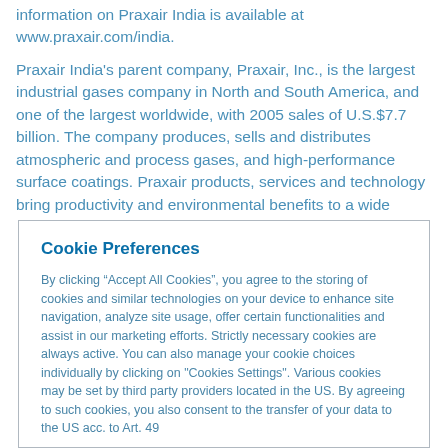information on Praxair India is available at www.praxair.com/india.
Praxair India's parent company, Praxair, Inc., is the largest industrial gases company in North and South America, and one of the largest worldwide, with 2005 sales of U.S.$7.7 billion. The company produces, sells and distributes atmospheric and process gases, and high-performance surface coatings. Praxair products, services and technology bring productivity and environmental benefits to a wide
Cookie Preferences
By clicking “Accept All Cookies”, you agree to the storing of cookies and similar technologies on your device to enhance site navigation, analyze site usage, offer certain functionalities and assist in our marketing efforts. Strictly necessary cookies are always active. You can also manage your cookie choices individually by clicking on "Cookies Settings". Various cookies may be set by third party providers located in the US. By agreeing to such cookies, you also consent to the transfer of your data to the US acc. to Art. 49